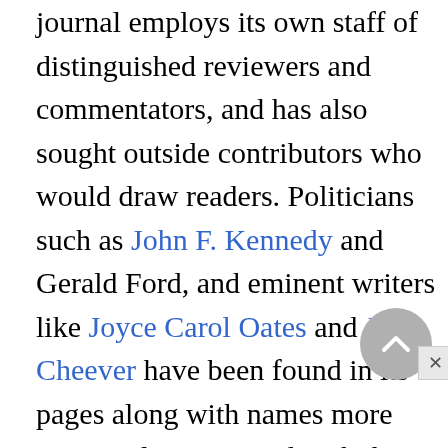journal employs its own staff of distinguished reviewers and commentators, and has also sought outside contributors who would draw readers. Politicians such as John F. Kennedy and Gerald Ford, and eminent writers like Joyce Carol Oates and John Cheever have been found in its pages along with names more commonly associated with the entertainment industry but no less distinguished, such as David Brinkley and Katherine Hepburn; even political